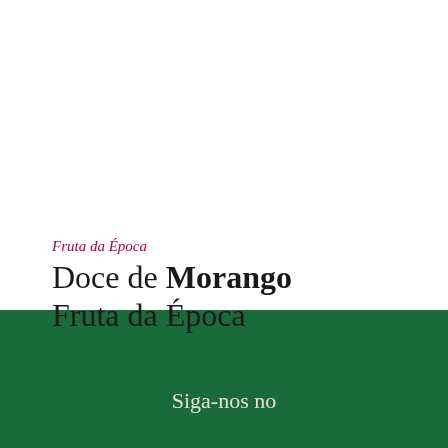Fruta da Época
Doce de Morango Fruta da Época
Siga-nos no